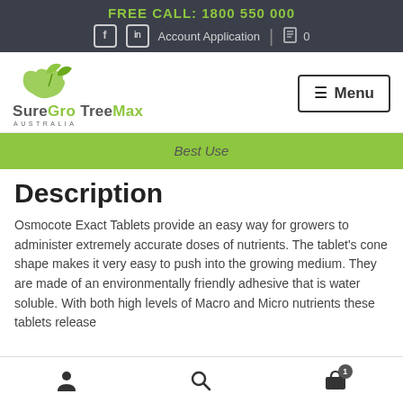FREE CALL: 1800 550 000
Account Application | 0
[Figure (logo): SureGro TreeMax Australia logo with green leaf/hand icon]
Best Use
Description
Osmocote Exact Tablets provide an easy way for growers to administer extremely accurate doses of nutrients. The tablet's cone shape makes it very easy to push into the growing medium. They are made of an environmentally friendly adhesive that is water soluble. With both high levels of Macro and Micro nutrients these tablets release
User icon | Search icon | Cart icon (1)